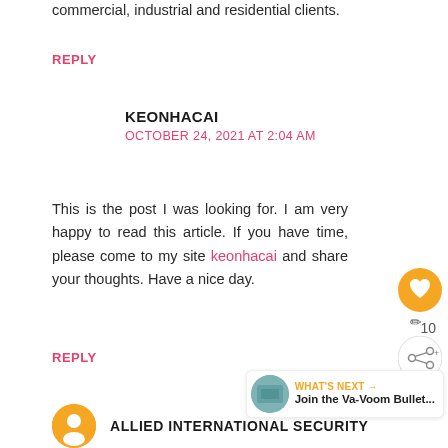commercial, industrial and residential clients.
REPLY
KEONHACAI
OCTOBER 24, 2021 AT 2:04 AM
This is the post I was looking for. I am very happy to read this article. If you have time, please come to my site keonhacai and share your thoughts. Have a nice day.
REPLY
WHAT'S NEXT → Join the Va-Voom Bullet...
ALLIED INTERNATIONAL SECURITY